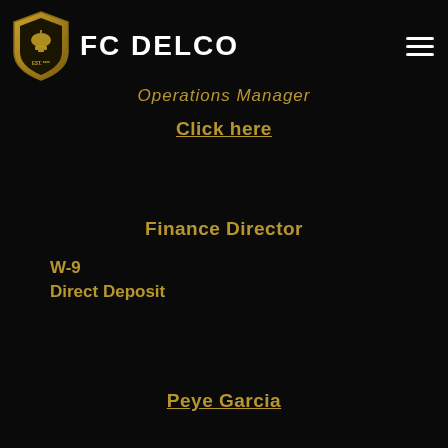FC DELCO
Operations Manager
Click here
Finance Director
W-9
Direct Deposit
Peye Garcia